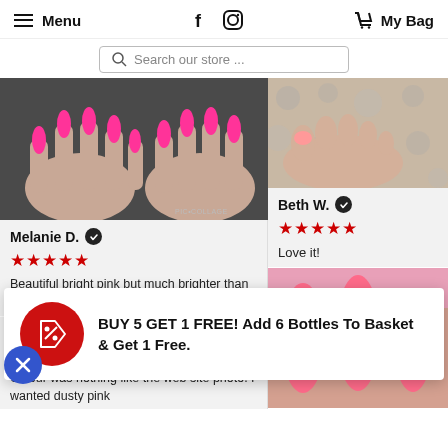Menu  [facebook] [instagram]  My Bag
Search our store ...
[Figure (photo): Close-up photo of hands with bright pink pointed nails against dark grey fabric background, with PIC•COLLAGE watermark]
Melanie D. ✓
★★★★★
Beautiful bright pink but much brighter than the image on line,
[Figure (photo): Close-up photo of toes/feet on polka dot background]
Beth W. ✓
★★★★★
Love it!
[Figure (photo): Close-up photo of bright pink nails]
BUY 5 GET 1 FREE! Add 6 Bottles To Basket & Get 1 Free.
Deborah W. ✓
☆☆☆
Colour was nothing like the web site photo. I wanted dusty pink